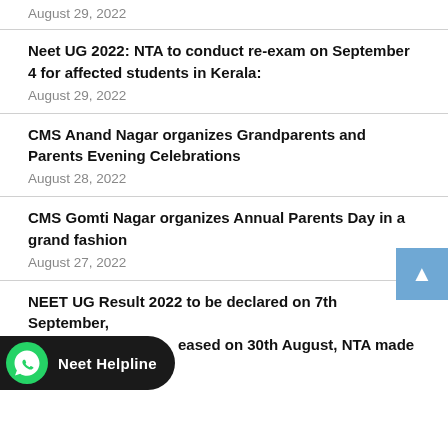August 29, 2022
Neet UG 2022: NTA to conduct re-exam on September 4 for affected students in Kerala:
August 29, 2022
CMS Anand Nagar organizes Grandparents and Parents Evening Celebrations
August 28, 2022
CMS Gomti Nagar organizes Annual Parents Day in a grand fashion
August 27, 2022
NEET UG Result 2022 to be declared on 7th September, released on 30th August, NTA made big announcement:
[Figure (screenshot): WhatsApp Neet Helpline chat button overlay at bottom left]